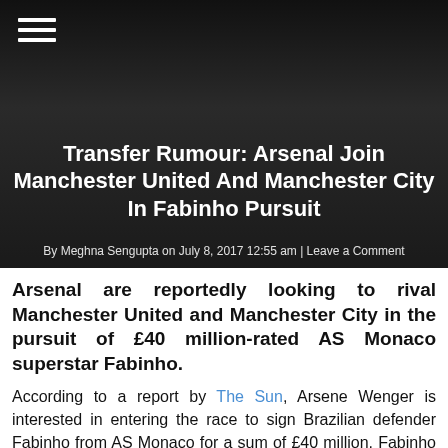[Figure (photo): Dark background photo of a footballer (Fabinho) in Monaco kit with arms raised, used as article hero image]
Transfer Rumour: Arsenal Join Manchester United And Manchester City In Fabinho Pursuit
By Meghna Sengupta on July 8, 2017 12:55 am | Leave a Comment
Arsenal are reportedly looking to rival Manchester United and Manchester City in the pursuit of £40 million-rated AS Monaco superstar Fabinho.
According to a report by The Sun, Arsene Wenger is interested in entering the race to sign Brazilian defender Fabinho from AS Monaco for a sum of £40 million. Fabinho played an integral role in Monaco's brilliant season last term and signing him will surely be a boost